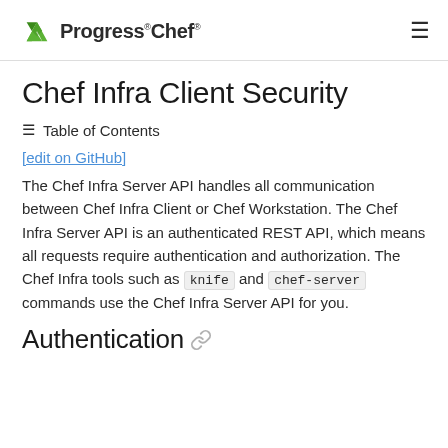Progress Chef
Chef Infra Client Security
≡ Table of Contents
[edit on GitHub]
The Chef Infra Server API handles all communication between Chef Infra Client or Chef Workstation. The Chef Infra Server API is an authenticated REST API, which means all requests require authentication and authorization. The Chef Infra tools such as knife and chef-server commands use the Chef Infra Server API for you.
Authentication